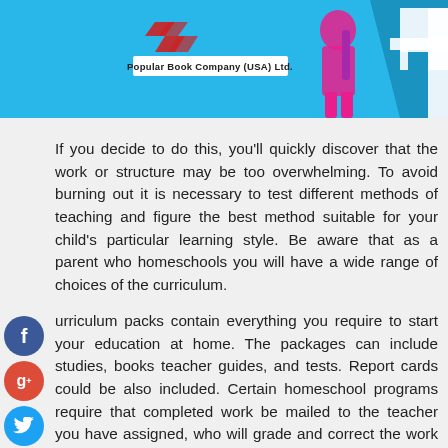[Figure (illustration): Blue banner with Popular Book Company (USA) Ltd. logo, a girl with a backpack, and a large number silhouette]
If you decide to do this, you'll quickly discover that the work or structure may be too overwhelming. To avoid burning out it is necessary to test different methods of teaching and figure the best method suitable for your child's particular learning style. Be aware that as a parent who homeschools you will have a wide range of choices of the curriculum.
Curriculum packs contain everything you require to start your education at home. The packages can include studies, books teacher guides, and tests. Report cards could be also included. Certain homeschool programs require that completed work be mailed to the teacher you have assigned, who will grade and correct the work of your child. The accredited homeschool programs will maintain transcripts, and list your achievements along the way as it finished.